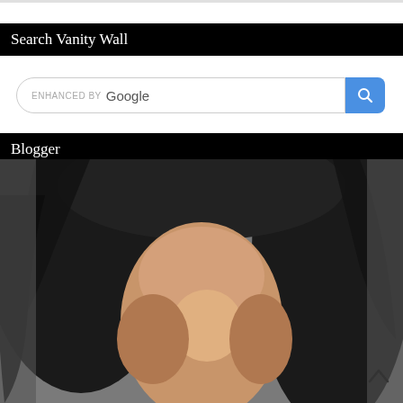Search Vanity Wall
[Figure (screenshot): Search bar with 'enhanced by Google' label and a blue search button with magnifying glass icon]
Blogger
[Figure (photo): Close-up photo of a person with dark hair, face partially visible, against a gray background]